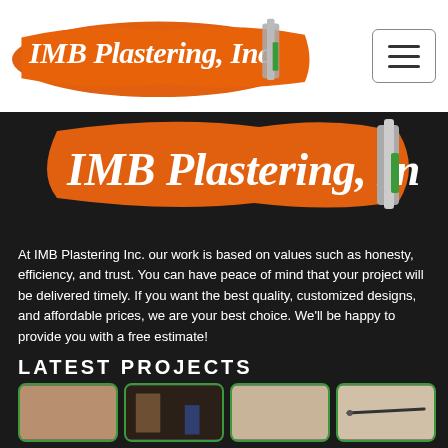[Figure (logo): IMB Plastering Inc. logo with orange brush stroke background and green trowel icon, small version in navbar]
[Figure (logo): IMB Plastering Inc. large hero logo on dark background with orange brush stroke and green/grey trowel icon]
At IMB Plastering Inc. our work is based on values such as honesty, efficiency, and trust. You can have peace of mind that your project will be delivered timely. If you want the best quality, customized designs, and affordable prices, we are your best choice. We'll be happy to provide you with a free estimate!
LATEST PROJECTS
[Figure (photo): Close-up of plastered wall surface, tan/brown color]
[Figure (photo): Dark room interior with plastered walls]
[Figure (photo): Plastered wall surface, light grey/brown]
[Figure (photo): Exterior wall with a steel rod or bar mounted on it]
[Figure (photo): Interior with arched doorways and stucco walls]
[Figure (photo): Multi-story building under construction with scaffolding]
[Figure (photo): Construction site with arched opening]
[Figure (photo): Exterior of finished residential home with green lawn]